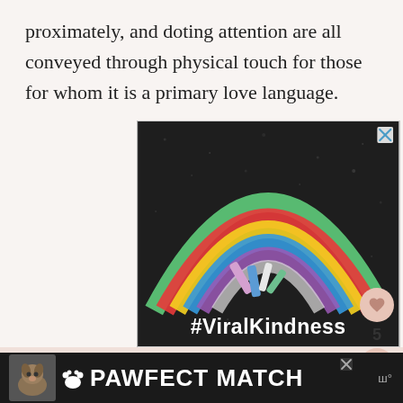proximately, and doting attention are all conveyed through physical touch for those for whom it is a primary love language.
[Figure (photo): A chalk-drawn rainbow on dark asphalt with chalk sticks at the base, and the text '#ViralKindness' in white bold letters at the bottom of the image. There is an X close button in the top-right corner.]
[Figure (screenshot): Bottom advertisement banner with a dark background showing a dog photo on the left, a paw icon, and the text 'PAWFECT MATCH' in bold white capital letters. An X close button is at the top right of the banner.]